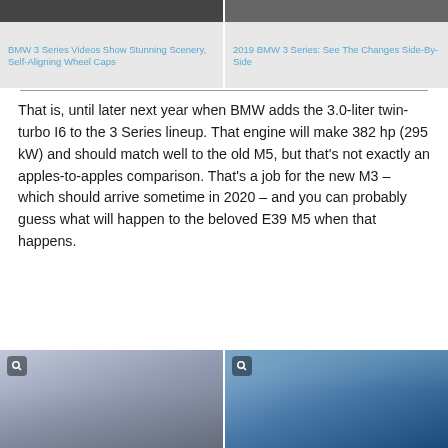[Figure (photo): Two article cards side by side at top. Left card shows a dark image of BMW 3 Series scenery. Right card shows a dark image of 2019 BMW 3 Series.]
BMW 3 Series Videos Show Stunning Scenery, Self-Aligning Wheel Caps
2019 BMW 3 Series: See The Changes Side-By-Side
That is, until later next year when BMW adds the 3.0-liter twin-turbo I6 to the 3 Series lineup. That engine will make 382 hp (295 kW) and should match well to the old M5, but that’s not exactly an apples-to-apples comparison. That’s a job for the new M3 – which should arrive sometime in 2020 – and you can probably guess what will happen to the beloved E39 M5 when that happens.
[Figure (photo): Two car images side by side at bottom. Left shows a silver/grey classic BMW M5 (E39 generation) on a road. Right shows a blue new BMW 3 Series driving in a mountain landscape.]